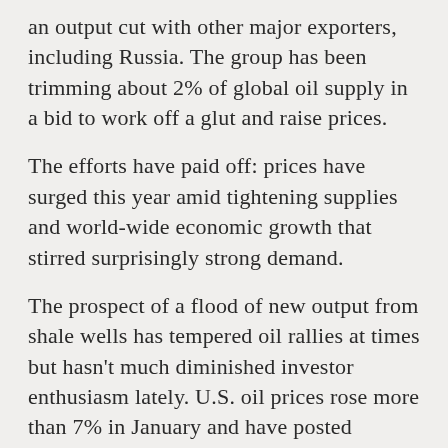an output cut with other major exporters, including Russia. The group has been trimming about 2% of global oil supply in a bid to work off a glut and raise prices.
The efforts have paid off: prices have surged this year amid tightening supplies and world-wide economic growth that stirred surprisingly strong demand.
The prospect of a flood of new output from shale wells has tempered oil rallies at times but hasn't much diminished investor enthusiasm lately. U.S. oil prices rose more than 7% in January and have posted monthly gains for five straight months--their longest streak since 2011. On Wednesday, U.S. crude futures rose 23 cents to $64.73 a barrel on the New York Mercantile Exchange and Brent, the global benchmark, rose 3 cents to